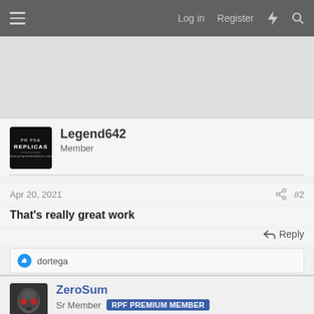Log in  Register
[Figure (other): Advertisement banner area, light gray background]
Legend642
Member
Apr 20, 2021
#2
That's really great work
Reply
dortega
ZeroSum
Sr Member  RPF PREMIUM MEMBER